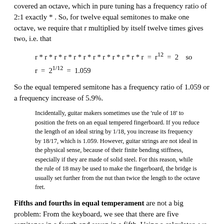covered an octave, which in pure tuning has a frequency ratio of 2:1 exactly *. So, for twelve equal semitones to make one octave, we require that r multiplied by itself twelve times gives two, i.e. that
So the equal tempered semitone has a frequency ratio of 1.059 or a frequency increase of 5.9%.
Incidentally, guitar makers sometimes use the 'rule of 18' to position the frets on an equal tempered fingerboard. If you reduce the length of an ideal string by 1/18, you increase its frequency by 18/17, which is 1.059. However, guitar strings are not ideal in the physical sense, because of their finite bending stiffness, especially if they are made of solid steel. For this reason, while the rule of 18 may be used to make the fingerboard, the bridge is usually set further from the nut than twice the length to the octave fret.
Fifths and fourths in equal temperament are not a big problem: From the keyboard, we see that there are five semitones in a fourth and seven in a fifth. Using a calculator, we see that